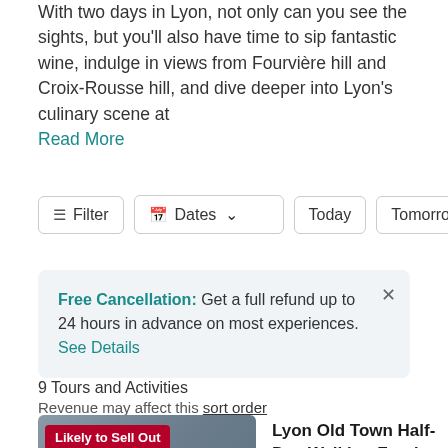With two days in Lyon, not only can you see the sights, but you'll also have time to sip fantastic wine, indulge in views from Fourvière hill and Croix-Rousse hill, and dive deeper into Lyon's culinary scene at Read More
Filter | Dates | Today | Tomorrow
Free Cancellation: Get a full refund up to 24 hours in advance on most experiences. See Details
9 Tours and Activities
Revenue may affect this sort order
[Figure (photo): Tour listing photo showing group of people, with 'Likely to Sell Out' badge]
Lyon Old Town Half-Day Walking Food Tour with Local Specialties Tasting & Lunch